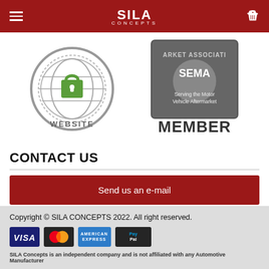SILA CONCEPTS
[Figure (logo): Secure website badge - globe with padlock icon and text WEBSITE]
[Figure (logo): ARKET ASSOCIATION member badge - Serving the Motor Vehicle Aftermarket MEMBER]
CONTACT US
Send us an e-mail
Wholesale Inquiries
Copyright © SILA CONCEPTS 2022. All right reserved.
[Figure (other): Payment icons: VISA, Mastercard, American Express, PayPal]
SILA Concepts is an independent company and is not affiliated with any Automotive Manufacturer